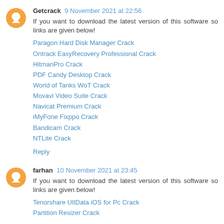Getcrack 9 November 2021 at 22:56
If you want to download the latest version of this software so links are given below!
Paragon Hard Disk Manager Crack
Ontrack EasyRecovery Professional Crack
HitmanPro Crack
PDF Candy Desktop Crack
World of Tanks WoT Crack
Movavi Video Suite Crack
Navicat Premium Crack
iMyFone Fixppo Crack
Bandicam Crack
NTLite Crack
Reply
farhan 10 November 2021 at 23:45
If you want to download the latest version of this software so links are given below!
Tenorshare UltData iOS for Pc Crack
Partition Resizer Crack